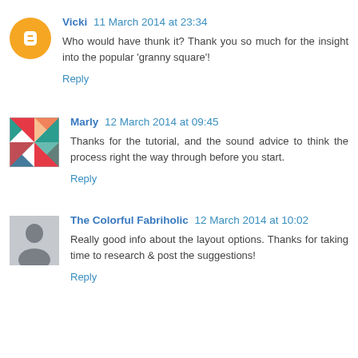Vicki 11 March 2014 at 23:34 — Who would have thunk it? Thank you so much for the insight into the popular 'granny square'! Reply
Marly 12 March 2014 at 09:45 — Thanks for the tutorial, and the sound advice to think the process right the way through before you start. Reply
The Colorful Fabriholic 12 March 2014 at 10:02 — Really good info about the layout options. Thanks for taking time to research & post the suggestions! Reply